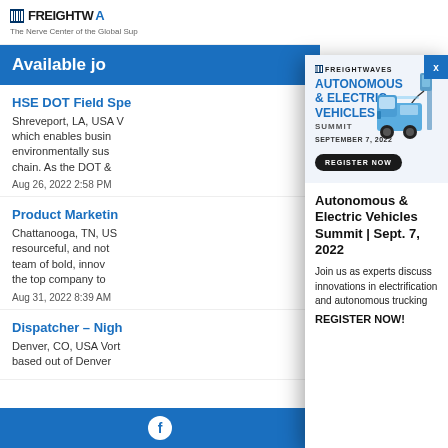FREIGHTWAVES - The Nerve Center of the Global Supply Chain
Available jobs
HSE DOT Field Specialist
Shreveport, LA, USA Vorto is a technology company which enables businesses to be more efficient, environmentally sustainable across the supply chain. As the DOT &
Aug 26, 2022 2:58 PM
Product Marketing
Chattanooga, TN, USA resourceful, and not team of bold, innov the top company to
Aug 31, 2022 8:39 AM
Dispatcher - Night
Denver, CO, USA Vort based out of Denver
[Figure (screenshot): FreightWaves Autonomous & Electric Vehicles Summit advertisement popup overlay]
Autonomous & Electric Vehicles Summit | Sept. 7, 2022
Join us as experts discuss innovations in electrification and autonomous trucking
REGISTER NOW!